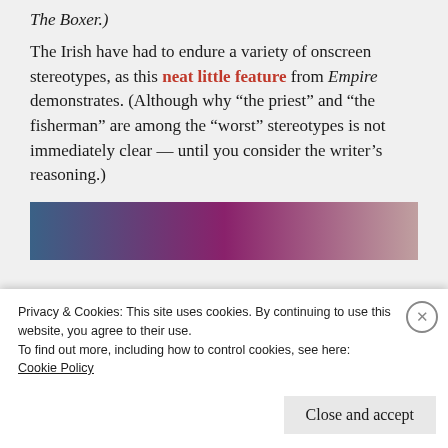The Boxer.)
The Irish have had to endure a variety of onscreen stereotypes, as this neat little feature from Empire demonstrates. (Although why “the priest” and “the fisherman” are among the “worst” stereotypes is not immediately clear — until you consider the writer’s reasoning.)
[Figure (photo): Partial image showing a color gradient strip (blue to purple/pink) visible at the top, with a red/dark strip visible at the very bottom.]
Privacy & Cookies: This site uses cookies. By continuing to use this website, you agree to their use.
To find out more, including how to control cookies, see here:
Cookie Policy
Close and accept